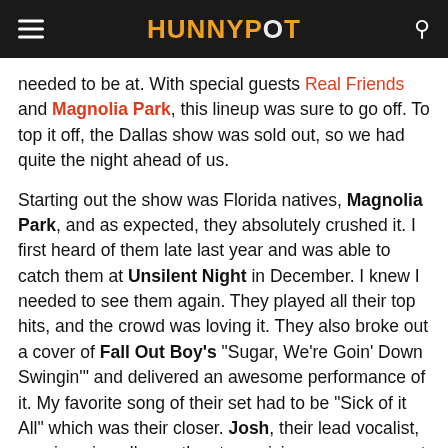HUNNYPOT
needed to be at. With special guests Real Friends and Magnolia Park, this lineup was sure to go off. To top it off, the Dallas show was sold out, so we had quite the night ahead of us.
Starting out the show was Florida natives, Magnolia Park, and as expected, they absolutely crushed it. I first heard of them late last year and was able to catch them at Unsilent Night in December. I knew I needed to see them again. They played all their top hits, and the crowd was loving it. They also broke out a cover of Fall Out Boy's "Sugar, We're Goin' Down Swingin'" and delivered an awesome performance of it. My favorite song of their set had to be "Sick of it All" which was their closer. Josh, their lead vocalist, was jumping all over the stage giving me some great action shots. Loved everything about it.
Next up was Real Friends, a band that I hadn't seen live in